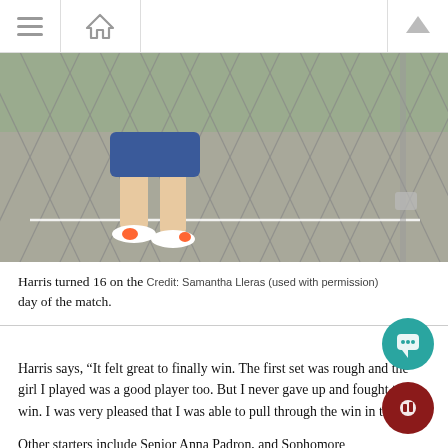Navigation bar with hamburger menu, home icon, and up arrow
[Figure (photo): A tennis player's legs running on a court, viewed through a chain-link fence. The player wears blue shorts and orange-accented white sneakers. Another player is visible in the background.]
Harris turned 16 on the day of the match. Credit: Samantha Lleras (used with permission)
Harris says, “It felt great to finally win. The first set was rough and the girl I played was a good player too. But I never gave up and fought to win. I was very pleased that I was able to pull through the win in the end.”
Other starters include Senior Anna Padron, and Sophomore